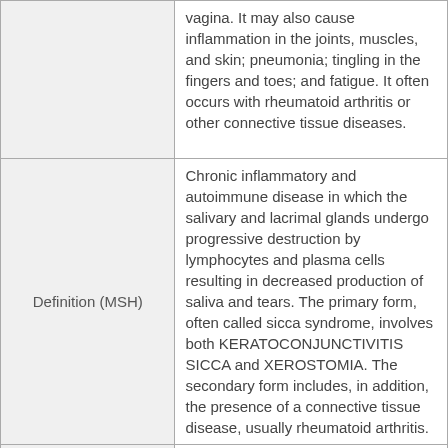|  |  |
| --- | --- |
|  | vagina. It may also cause inflammation in the joints, muscles, and skin; pneumonia; tingling in the fingers and toes; and fatigue. It often occurs with rheumatoid arthritis or other connective tissue diseases. |
| Definition (MSH) | Chronic inflammatory and autoimmune disease in which the salivary and lacrimal glands undergo progressive destruction by lymphocytes and plasma cells resulting in decreased production of saliva and tears. The primary form, often called sicca syndrome, involves both KERATOCONJUNCTIVITIS SICCA and XEROSTOMIA. The secondary form includes, in addition, the presence of a connective tissue disease, usually rheumatoid arthritis. |
|  | symptom complex of unknown etiology, usually occurring in middle-aged or older women, marked by |